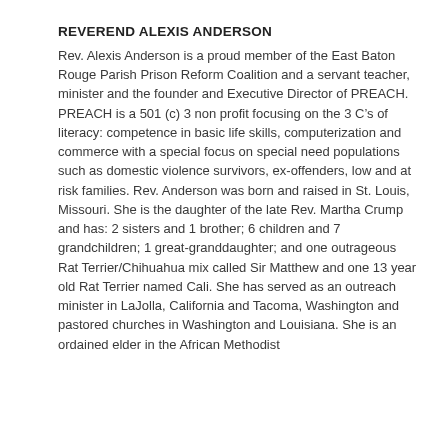REVEREND ALEXIS ANDERSON
Rev. Alexis Anderson is a proud member of the East Baton Rouge Parish Prison Reform Coalition and a servant teacher, minister and the founder and Executive Director of PREACH. PREACH is a 501 (c) 3 non profit focusing on the 3 C's of literacy: competence in basic life skills, computerization and commerce with a special focus on special need populations such as domestic violence survivors, ex-offenders, low and at risk families. Rev. Anderson was born and raised in St. Louis, Missouri. She is the daughter of the late Rev. Martha Crump and has: 2 sisters and 1 brother; 6 children and 7 grandchildren; 1 great-granddaughter; and one outrageous Rat Terrier/Chihuahua mix called Sir Matthew and one 13 year old Rat Terrier named Cali. She has served as an outreach minister in LaJolla, California and Tacoma, Washington and pastored churches in Washington and Louisiana. She is an ordained elder in the African Methodist